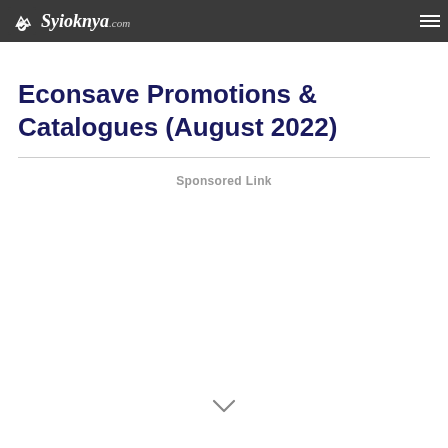Syioknya.com
Econsave Promotions & Catalogues (August 2022)
Sponsored Link